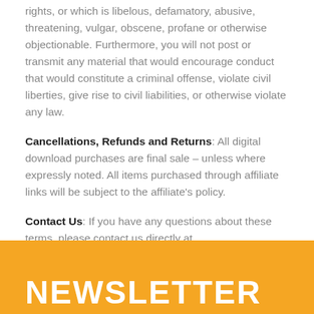rights, or which is libelous, defamatory, abusive, threatening, vulgar, obscene, profane or otherwise objectionable. Furthermore, you will not post or transmit any material that would encourage conduct that would constitute a criminal offense, violate civil liberties, give rise to civil liabilities, or otherwise violate any law.
Cancellations, Refunds and Returns: All digital download purchases are final sale – unless where expressly noted. All items purchased through affiliate links will be subject to the affiliate's policy.
Contact Us: If you have any questions about these terms, please contact us directly at recipe.visitrealindia.com
NEWSLETTER